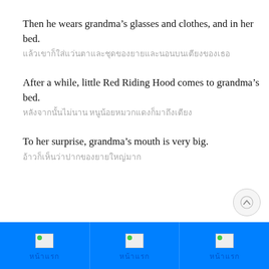Then he wears grandma’s glasses and clothes, and in her bed.
แล้วเขาก็ใส่แว่นตาและชุดของยายและนอนบนเตียงของเธอ
After a while, little Red Riding Hood comes to grandma’s bed.
หลังจากนั้นไม่นาน หนูน้อยหมวกแดงก็มาถึงเตียง
To her surprise, grandma’s mouth is very big.
อ้าวก็เห็นว่าปากของยายใหญ่มาก